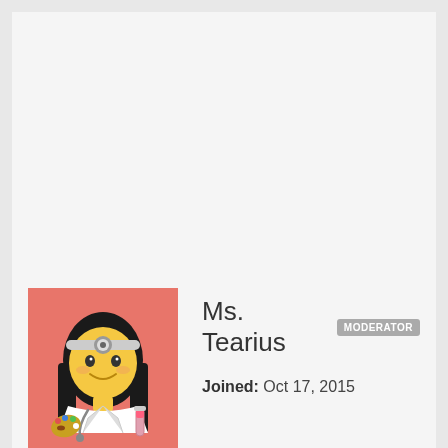[Figure (illustration): Avatar image of a cartoon female doctor/artist emoji with black hair, headband with medical mirror, lab coat, stethoscope, artist palette, and test tube, on a salmon/coral pink background.]
Ms. Tearius MODERATOR
Joined: Oct 17, 2015